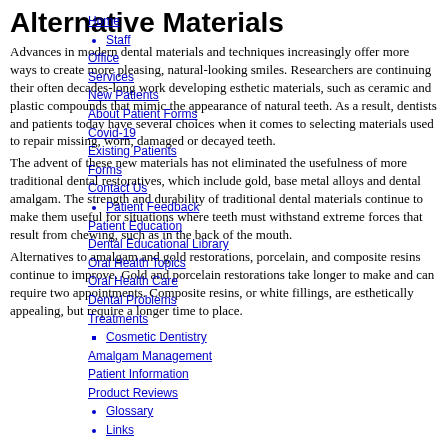Alternative Materials
Home
Staff
Office
Services
New Patients
About Patient Forms
Covid-19
Existing Patients
Forms
Contact Us
Patient Feedback
Patient Education
Dental Educational Library
Oral Health Topics
Oral Health Care
Dental Problems
Treatments
Cosmetic Dentistry
Amalgam Management
Patient Information
Product Reviews
Glossary
Links
Advances in modern dental materials and techniques increasingly offer more ways to create more pleasing, natural-looking smiles. Researchers are continuing their often decades-long work developing esthetic materials, such as ceramic and plastic compounds that mimic the appearance of natural teeth. As a result, dentists and patients today have several choices when it comes to selecting materials used to repair missing, worn, damaged or decayed teeth.
The advent of these new materials has not eliminated the usefulness of more traditional dental restoratives, which include gold, base metal alloys and dental amalgam. The strength and durability of traditional dental materials continue to make them useful for situations where teeth must withstand extreme forces that result from chewing, such as in the back of the mouth.
Alternatives to amalgam and gold restorations, porcelain, and composite resins continue to improve. Gold and porcelain restorations take longer to make and can require two appointments. Composite resins, or white fillings, are esthetically appealing, but require a longer time to place.